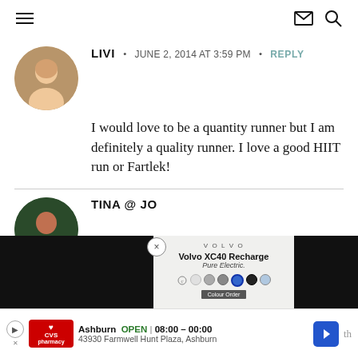☰  ✉  🔍
LIVI  •  JUNE 2, 2014 AT 3:59 PM  •  REPLY
I would love to be a quantity runner but I am definitely a quality runner. I love a good HIIT run or Fartlek!
[Figure (screenshot): Volvo XC40 Recharge Pure Electric advertisement overlay with black panels on sides, color selector dots, and car image]
TINA @ JO...
I am pretty d...
CVS Pharmacy ad — Ashburn OPEN 08:00–00:00 43930 Farmwell Hunt Plaza, Ashburn